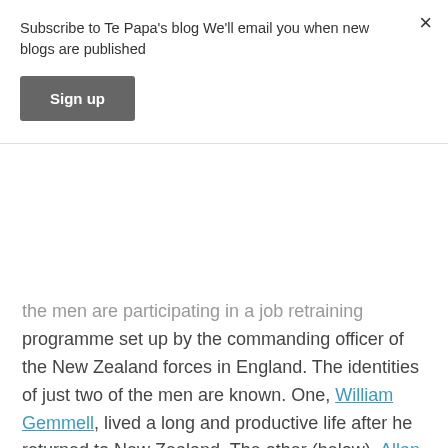Subscribe to Te Papa's blog We'll email you when new blogs are published
Sign up
the men are participating in a job retraining programme set up by the commanding officer of the New Zealand forces in England. The identities of just two of the men are known. One, William Gemmell, lived a long and productive life after he returned to New Zealand. The other (below), Allan McMillan, died in a Dunedin convalescent home in the 1930 aged 39.